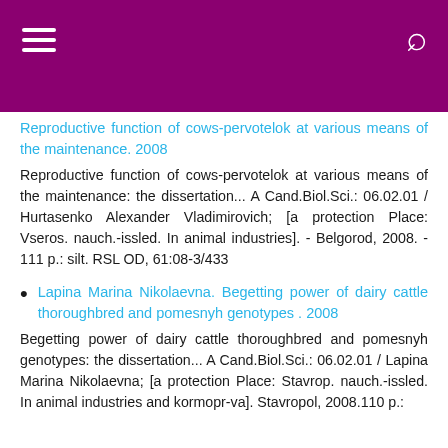Reproductive function of cows-pervotelok at various means of the maintenance. 2008
Reproductive function of cows-pervotelok at various means of the maintenance: the dissertation... A Cand.Biol.Sci.: 06.02.01 / Hurtasenko Alexander Vladimirovich; [a protection Place: Vseros. nauch.-issled. In animal industries]. - Belgorod, 2008. - 111 p.: silt. RSL OD, 61:08-3/433
Lapina Marina Nikolaevna. Begetting power of dairy cattle thoroughbred and pomesnyh genotypes . 2008
Begetting power of dairy cattle thoroughbred and pomesnyh genotypes: the dissertation... A Cand.Biol.Sci.: 06.02.01 / Lapina Marina Nikolaevna; [a protection Place: Stavrop. nauch.-issled. In animal industries and kormopr-va]. Stavropol, 2008.110 p.: